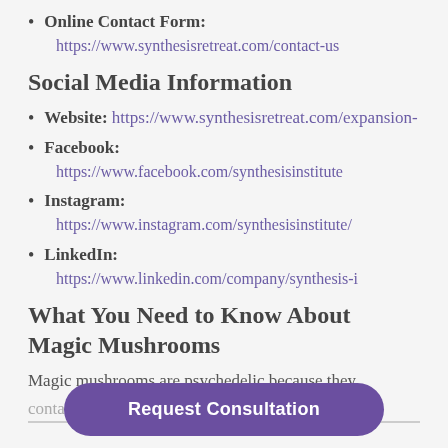Online Contact Form: https://www.synthesisretreat.com/contact-us
Social Media Information
Website: https://www.synthesisretreat.com/expansion-
Facebook: https://www.facebook.com/synthesisinstitute
Instagram: https://www.instagram.com/synthesisinstitute/
LinkedIn: https://www.linkedin.com/company/synthesis-i
What You Need to Know About Magic Mushrooms
Magic mushrooms are psychedelic because they contain the psychedelic compounds psilocybin and
Request Consultation